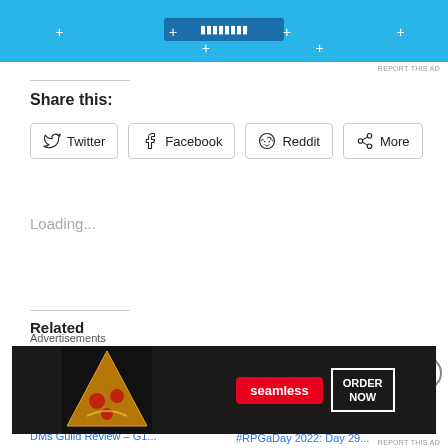[Figure (photo): Top advertisement banner with blue background, a dark blue button at top center, and dot separators along the bottom]
REPORT THIS AD
Share this:
[Figure (other): Twitter share button]
[Figure (other): Facebook share button]
[Figure (other): Reddit share button]
[Figure (other): More share button]
Loading...
Related
[Figure (photo): Monster creature artwork - DMs Guild Review thumbnail]
DMs Guild Review – G1...
[Figure (photo): 2022 calendar/checklist document thumbnail]
#RPGaDay 2022: Day 29...
[Figure (other): Close (X) button circle]
Advertisements
[Figure (photo): Seamless food delivery advertisement banner with pizza image on dark background, Seamless red logo, and ORDER NOW button]